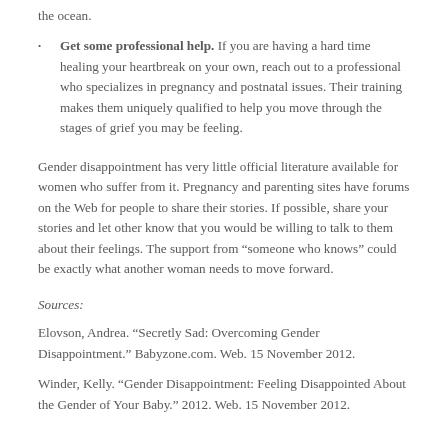the ocean.
Get some professional help. If you are having a hard time healing your heartbreak on your own, reach out to a professional who specializes in pregnancy and postnatal issues. Their training makes them uniquely qualified to help you move through the stages of grief you may be feeling.
Gender disappointment has very little official literature available for women who suffer from it. Pregnancy and parenting sites have forums on the Web for people to share their stories. If possible, share your stories and let other know that you would be willing to talk to them about their feelings. The support from “someone who knows” could be exactly what another woman needs to move forward.
Sources:
Elovson, Andrea. “Secretly Sad: Overcoming Gender Disappointment.” Babyzone.com. Web. 15 November 2012.
Winder, Kelly. “Gender Disappointment: Feeling Disappointed About the Gender of Your Baby.” 2012. Web. 15 November 2012.